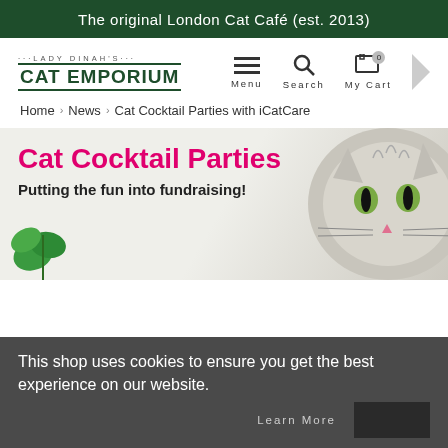The original London Cat Café (est. 2013)
[Figure (logo): Lady Dinah's Cat Emporium logo with decorative dots and green text]
Menu  Search  My Cart
Home › News › Cat Cocktail Parties with iCatCare
[Figure (photo): Promotional banner for Cat Cocktail Parties showing title in pink, subtitle 'Putting the fun into fundraising!', a tabby cat face, and green mint leaves]
This shop uses cookies to ensure you get the best experience on our website.
Learn More